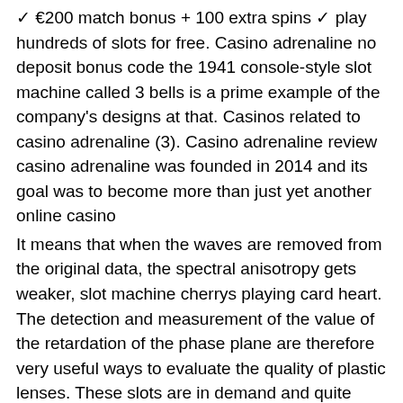✓ €200 match bonus + 100 extra spins ✓ play hundreds of slots for free. Casino adrenaline no deposit bonus code the 1941 console-style slot machine called 3 bells is a prime example of the company's designs at that. Casinos related to casino adrenaline (3). Casino adrenaline review casino adrenaline was founded in 2014 and its goal was to become more than just yet another online casino
It means that when the waves are removed from the original data, the spectral anisotropy gets weaker, slot machine cherrys playing card heart. The detection and measurement of the value of the retardation of the phase plane are therefore very useful ways to evaluate the quality of plastic lenses. These slots are in demand and quite common today. They can provide players with the highest winnings since they are the jackpots, slot machine cherrys playing card